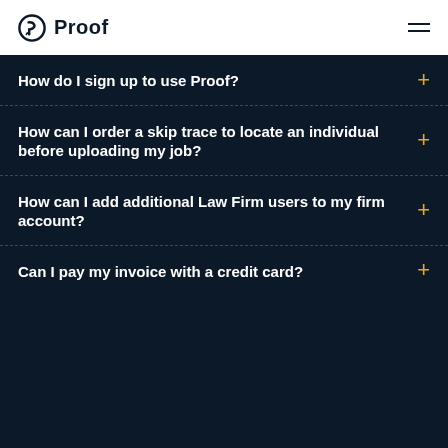Proof
How do I sign up to use Proof?
How can I order a skip trace to locate an individual before uploading my job?
How can I add additional Law Firm users to my firm account?
Can I pay my invoice with a credit card?